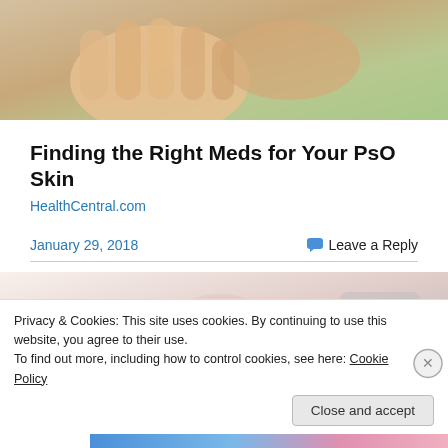[Figure (photo): Close-up photo of hands with skin condition, green blurred background]
Finding the Right Meds for Your PsO Skin
HealthCentral.com
January 29, 2018
Leave a Reply
[Figure (photo): Partial image of a butterfly on a light blurred background]
Privacy & Cookies: This site uses cookies. By continuing to use this website, you agree to their use.
To find out more, including how to control cookies, see here: Cookie Policy
Close and accept